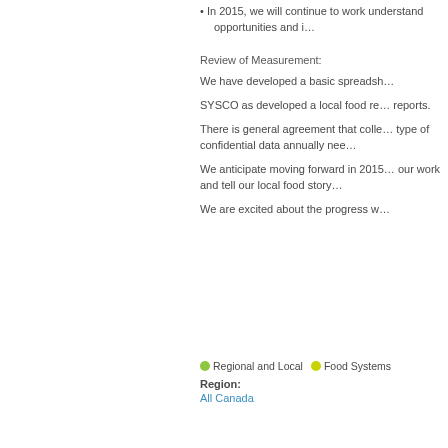In 2015, we will continue to work understand opportunities and i…
Review of Measurement:
We have developed a basic spreadsh…
SYSCO as developed a local food re… reports.
There is general agreement that colle… type of confidential data annually nee…
We anticipate moving forward in 2015… our work and tell our local food story…
We are excited about the progress w…
Regional and Local   Food Systems
Region:
All Canada